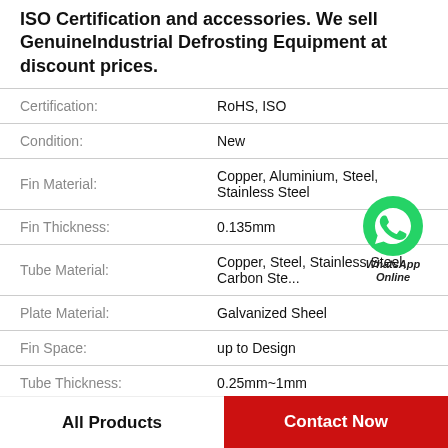ISO Certification and accessories. We sell GenuineIndustrial Defrosting Equipment at discount prices.
| Property | Value |
| --- | --- |
| Certification: | RoHS, ISO |
| Condition: | New |
| Fin Material: | Copper, Aluminium, Steel, Stainless Steel |
| Fin Thickness: | 0.135mm |
| Tube Material: | Copper, Steel, Stainless Steel, Carbon Ste... |
| Plate Material: | Galvanized Sheel |
| Fin Space: | up to Design |
| Tube Thickness: | 0.25mm~1mm |
[Figure (illustration): WhatsApp Online green phone icon badge]
All Products
Contact Now